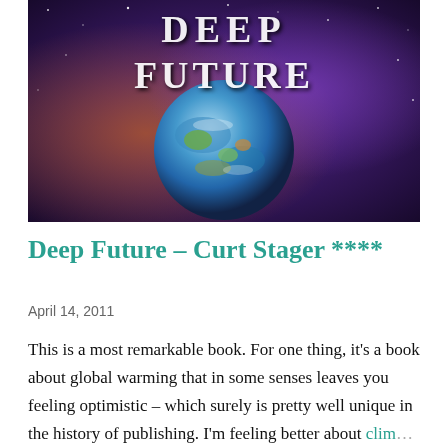[Figure (photo): Book cover for 'Deep Future' by Curt Stager, showing the planet Earth against a colorful nebula space background with large stylized text 'DEEP FUTURE' across the top.]
Deep Future – Curt Stager ****
April 14, 2011
This is a most remarkable book. For one thing, it's a book about global warming that in some senses leaves you feeling optimistic – which surely is pretty well unique in the history of publishing. I'm feeling better about clim...